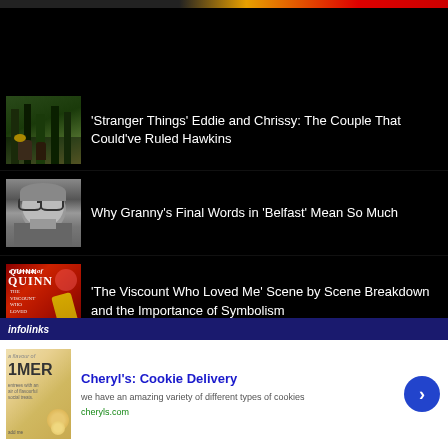[Figure (screenshot): Partial top image strip showing faces, partially cropped]
'Stranger Things' Eddie and Chrissy: The Couple That Could've Ruled Hawkins
Why Granny's Final Words in 'Belfast' Mean So Much
'The Viscount Who Loved Me' Scene by Scene Breakdown and the Importance of Symbolism
[Figure (screenshot): Advertisement for Cheryl's Cookie Delivery: 'we have an amazing variety of different types of cookies', cheryls.com, with infolinks bar at bottom]